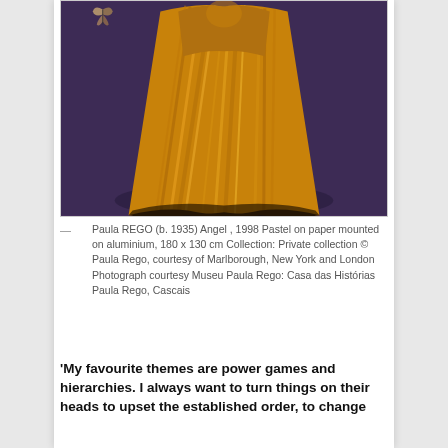[Figure (illustration): Painting of a figure in a large dramatic golden-orange dress with a dark background (purple/grey). The figure appears headless or with head obscured, wearing a voluminous, richly pleated and folded golden satin gown. A small butterfly or moth is visible upper left. The dress pools at the bottom with dark fabric.]
— Paula REGO (b. 1935) Angel , 1998 Pastel on paper mounted on aluminium, 180 x 130 cm Collection: Private collection © Paula Rego, courtesy of Marlborough, New York and London Photograph courtesy Museu Paula Rego: Casa das Histórias Paula Rego, Cascais
'My favourite themes are power games and hierarchies. I always want to turn things on their heads to upset the established order, to change